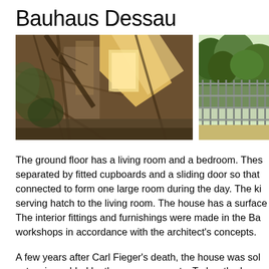Bauhaus Dessau
[Figure (photo): Two outdoor photos side by side: left photo shows an overgrown building exterior with ivy and bare branches with warm golden sunlight; right photo shows a fence or metal gate with green trees/bushes behind it.]
The ground floor has a living room and a bedroom. These are separated by fitted cupboards and a sliding door so that they can be connected to form one large room during the day. The kitchen has a serving hatch to the living room. The house has a surface area of... The interior fittings and furnishings were made in the Bauhaus workshops in accordance with the architect's concepts.
A few years after Carl Fieger's death, the house was sold... extension added by the new occupants. Today, the house...